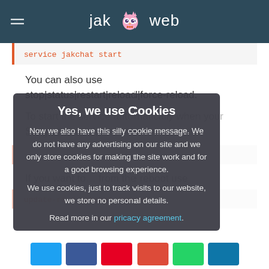jak web
service jakchat start
You can also use stop|status|restart|reload|force-reload.
To start the service automatically when your S... command.
[Figure (screenshot): Cookie consent overlay dialog with title 'Yes, we use Cookies', body text about cookie usage and privacy, and a privacy agreement link.]
If you want to... from the reboot use
update-rc.d jakchat remove
[Figure (other): Social sharing buttons row: Twitter, Facebook, Pinterest, Google+, WhatsApp, LinkedIn]